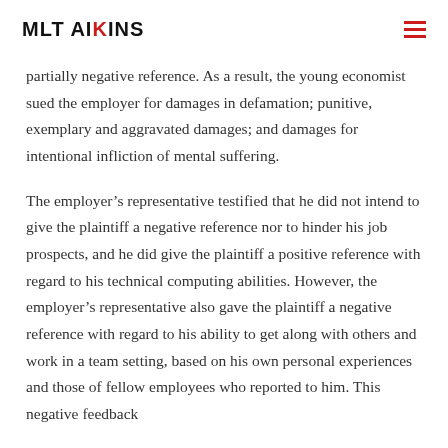MLT AIKINS
partially negative reference. As a result, the young economist sued the employer for damages in defamation; punitive, exemplary and aggravated damages; and damages for intentional infliction of mental suffering.
The employer’s representative testified that he did not intend to give the plaintiff a negative reference nor to hinder his job prospects, and he did give the plaintiff a positive reference with regard to his technical computing abilities. However, the employer’s representative also gave the plaintiff a negative reference with regard to his ability to get along with others and work in a team setting, based on his own personal experiences and those of fellow employees who reported to him. This negative feedback